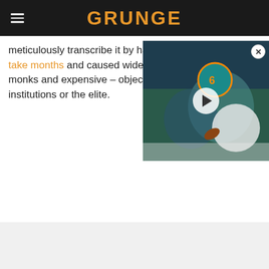GRUNGE
meticulously transcribe it by hand. This practice could take months and caused wide[spread reliance on] thousands of dedicated monks[...] and expensive – objects that [could only be owned by] religious institutions or the elite.
[Figure (screenshot): Video player overlay showing football players in action with a play button in center and close button top-right]
[Figure (screenshot): Advertisement banner for Nike showing shoe image, Nike Just Do It tagline, description text, www.nike.com URL, and a circular arrow button]